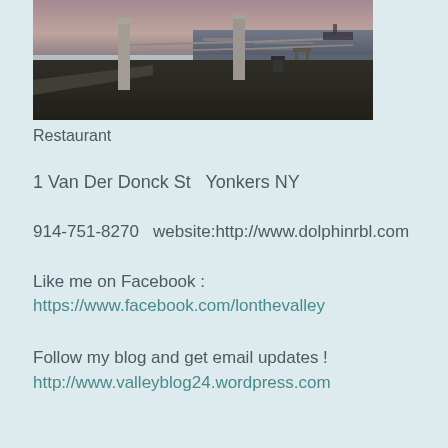[Figure (photo): Waterfront boardwalk/pier scene at dusk with water reflections, pillars, and railings visible]
Restaurant
1 Van Der Donck St  Yonkers NY
914-751-8270  website:http://www.dolphinrbl.com
Like me on Facebook :
https://www.facebook.com/lonthevalley
Follow my blog and get email updates !
http://www.valleyblog24.wordpress.com